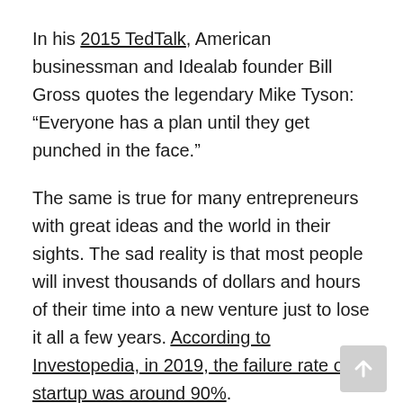In his 2015 TedTalk, American businessman and Idealab founder Bill Gross quotes the legendary Mike Tyson: “Everyone has a plan until they get punched in the face.”
The same is true for many entrepreneurs with great ideas and the world in their sights. The sad reality is that most people will invest thousands of dollars and hours of their time into a new venture just to lose it all a few years. According to Investopedia, in 2019, the failure rate of startup was around 90%.
This happens for many reasons such as a lack of resources or research. In Gross’ experience